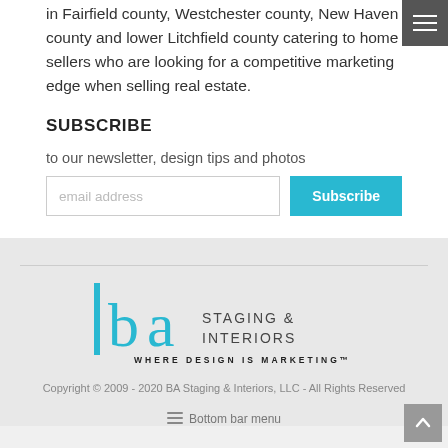in Fairfield county, Westchester county, New Haven county and lower Litchfield county catering to home sellers who are looking for a competitive marketing edge when selling real estate.
SUBSCRIBE
to our newsletter, design tips and photos
[Figure (logo): BA Staging & Interiors logo with tagline WHERE DESIGN IS MARKETING]
Copyright © 2009 - 2020 BA Staging & Interiors, LLC - All Rights Reserved
Bottom bar menu